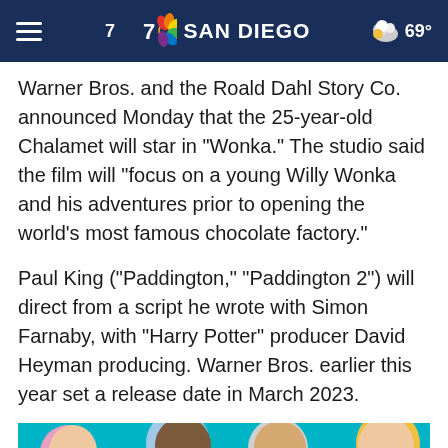NBC 7 SAN DIEGO — 69°
Warner Bros. and the Roald Dahl Story Co. announced Monday that the 25-year-old Chalamet will star in "Wonka." The studio said the film will "focus on a young Willy Wonka and his adventures prior to opening the world's most famous chocolate factory."
Paul King ("Paddington," "Paddington 2") will direct from a script he wrote with Simon Farnaby, with "Harry Potter" producer David Heyman producing. Warner Bros. earlier this year set a release date in March 2023.
[Figure (photo): POP COZI TV advertisement banner with colorful faces on a teal background]